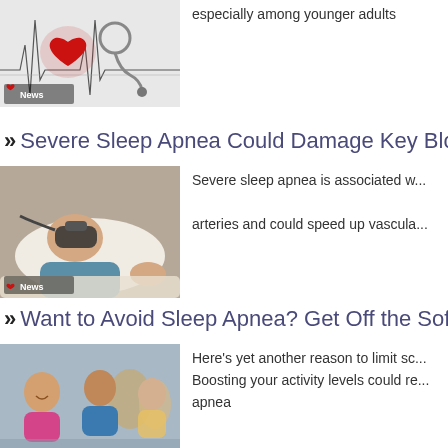especially among younger adults
[Figure (photo): Red heart and stethoscope on ECG paper with American Heart Association News badge]
» Severe Sleep Apnea Could Damage Key Blood
[Figure (photo): Man sleeping with CPAP mask on pillow with American Heart Association News badge]
Severe sleep apnea is associated w... arteries and could speed up vascula...
» Want to Avoid Sleep Apnea? Get Off the Sofa
[Figure (photo): Group of people exercising in a gym]
Here's yet another reason to limit sc... Boosting your activity levels could re... apnea